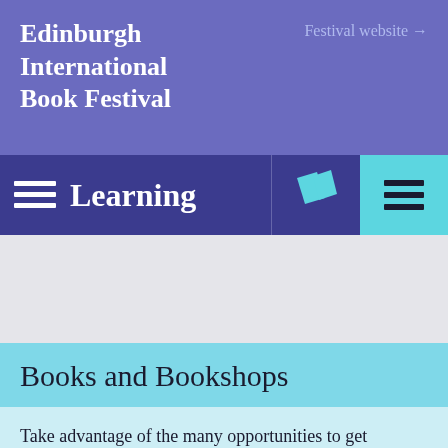Edinburgh International Book Festival
Festival website →
Learning
[Figure (illustration): Ticket/book icon in cyan on dark blue background]
[Figure (illustration): Hamburger menu icon (three horizontal lines) on cyan background]
Books and Bookshops
Take advantage of the many opportunities to get exciting new resources for your pupils and schools